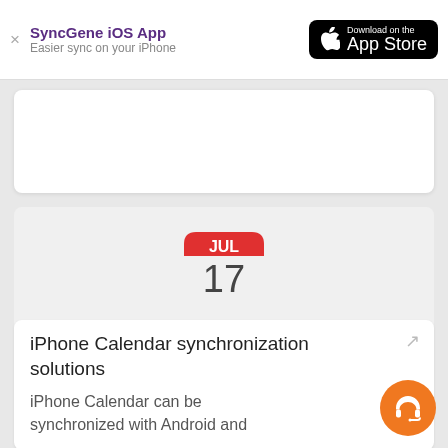SyncGene iOS App – Easier sync on your iPhone
[Figure (screenshot): App Store download button with Apple logo]
[Figure (illustration): iOS Calendar app icon showing JUL 17]
iPhone Calendar synchronization solutions
iPhone Calendar can be synchronized with Android and